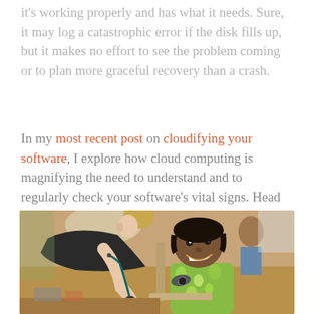it's working properly and has what it needs. Sure, it may log a catastrophic error if the disk fills up, but it makes no effort to see the problem coming or to plan more graceful recovery than a crash.
In my most recent post on cloudifying your software, I explore how cloud computing is magnifying the need to understand and to regularly check your software's vital signs. Head on over to adaptivecomputing.com/blog and check it out.
[Figure (photo): A nurse or healthcare worker leaning over to examine a young smiling boy with a stethoscope. The child is wearing a floral/patterned shirt and appears happy. Setting looks like a clinic or community health event.]